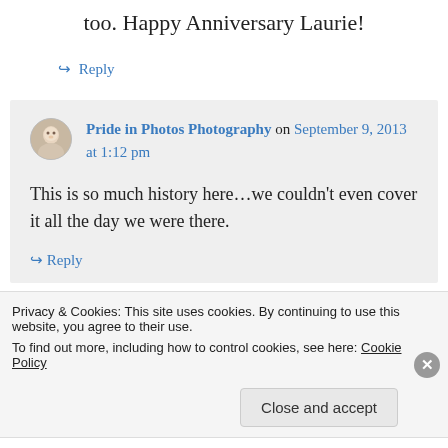too. Happy Anniversary Laurie!
↳ Reply
Pride in Photos Photography on September 9, 2013 at 1:12 pm
This is so much history here…we couldn't even cover it all the day we were there.
↳ Reply
Privacy & Cookies: This site uses cookies. By continuing to use this website, you agree to their use.
To find out more, including how to control cookies, see here: Cookie Policy